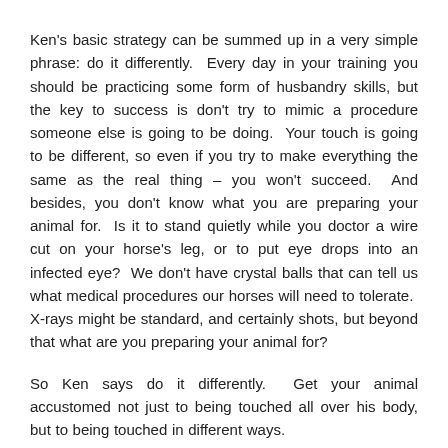Ken's basic strategy can be summed up in a very simple phrase: do it differently.  Every day in your training you should be practicing some form of husbandry skills, but the key to success is don't try to mimic a procedure someone else is going to be doing.  Your touch is going to be different, so even if you try to make everything the same as the real thing – you won't succeed.  And besides, you don't know what you are preparing your animal for.  Is it to stand quietly while you doctor a wire cut on your horse's leg, or to put eye drops into an infected eye?  We don't have crystal balls that can tell us what medical procedures our horses will need to tolerate.  X-rays might be standard, and certainly shots, but beyond that what are you preparing your animal for?
So Ken says do it differently.  Get your animal accustomed not just to being touched all over his body, but to being touched in different ways.